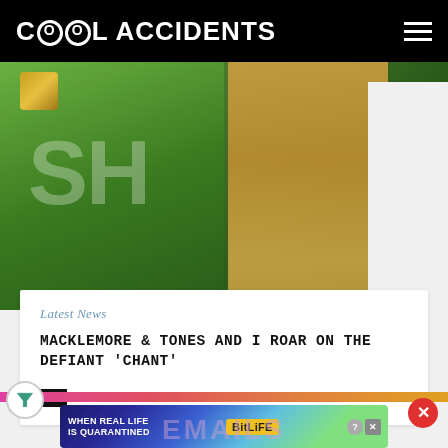Cool Accidents
[Figure (photo): Photo showing a person wearing a green sports jersey with partial text visible, alongside another person with blonde hair wearing a white shirt. A gold badge/emblem is visible in the upper left.]
Latest News
MACKLEMORE & TONES AND I ROAR ON THE DEFIANT 'CHANT'
CA  POSTED JUL 26 2022
[Figure (infographic): Advertisement banner: 'WHEN REAL LIFE IS QUARANTINED' with BitLife branding and emoji icons]
EMAILS